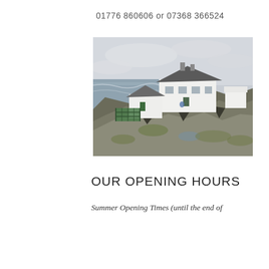01776 860606 or 07368 366524
[Figure (photo): Coastal scene with white-walled buildings perched on rocky cliffs above the sea, overcast sky, with a green balcony/deck structure visible on the left side]
OUR OPENING HOURS
Summer Opening Times (until the end of